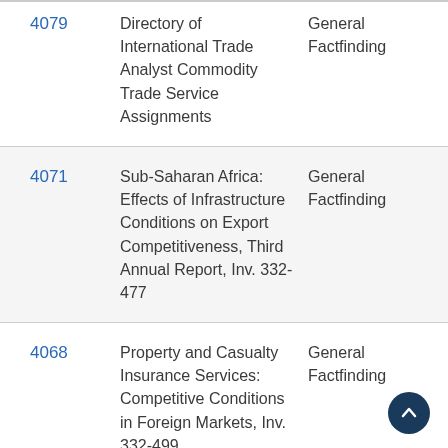| ID | Title | Type |
| --- | --- | --- |
| 4079 | Directory of International Trade Analyst Commodity Trade Service Assignments | General Factfinding |
| 4071 | Sub-Saharan Africa: Effects of Infrastructure Conditions on Export Competitiveness, Third Annual Report, Inv. 332-477 | General Factfinding |
| 4068 | Property and Casualty Insurance Services: Competitive Conditions in Foreign Markets, Inv. 332-499 | General Factfinding |